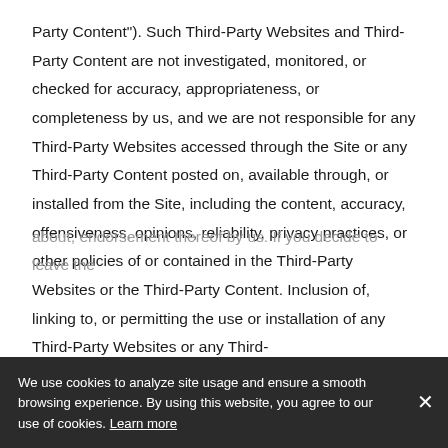Party Content"). Such Third-Party Websites and Third-Party Content are not investigated, monitored, or checked for accuracy, appropriateness, or completeness by us, and we are not responsible for any Third-Party Websites accessed through the Site or any Third-Party Content posted on, available through, or installed from the Site, including the content, accuracy, offensiveness, opinions, reliability, privacy practices, or other policies of or contained in the Third-Party Websites or the Third-Party Content. Inclusion of, linking to, or permitting the use or installation of any Third-Party Websites or any Third-
about, endorsement thereof by us. If you decide to leave the
Site and access the Third-Party Websites or to use or
We use cookies to analyze site usage and ensure a smooth browsing experience. By using this website, you agree to our use of cookies. Learn more